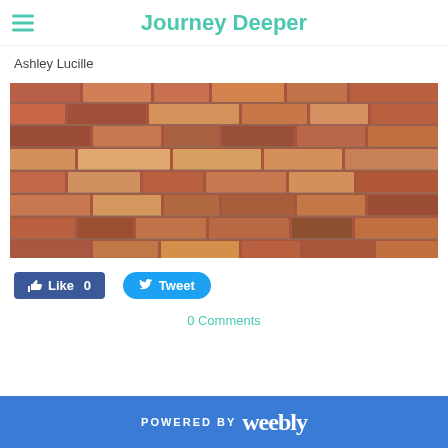Journey Deeper
Ashley Lucille
[Figure (photo): Close-up photograph of a red brick wall with varied colored bricks in rows with mortar joints visible]
Like 0   Tweet
0 Comments
POWERED BY weebly